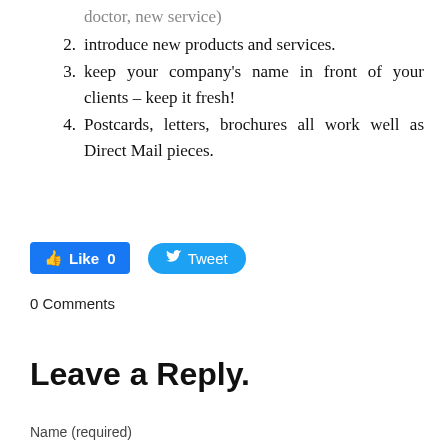doctor, new service)
2.  introduce new products and services.
3.  keep your company’s name in front of your clients – keep it fresh!
4.  Postcards, letters, brochures all work well as Direct Mail pieces.
[Figure (other): Facebook Like button showing 0 likes and a Twitter Tweet button]
0 Comments
Leave a Reply.
Name (required)